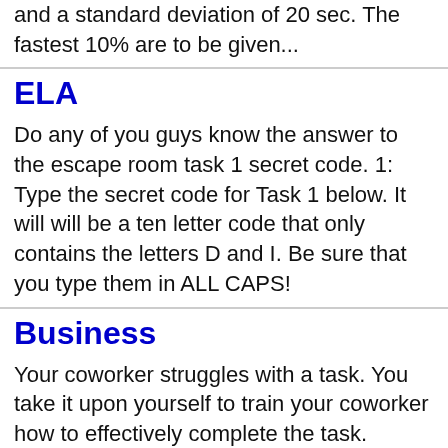and a standard deviation of 20 sec. The fastest 10% are to be given...
ELA
Do any of you guys know the answer to the escape room task 1 secret code. 1: Type the secret code for Task 1 below. It will will be a ten letter code that only contains the letters D and I. Be sure that you type them in ALL CAPS!
Business
Your coworker struggles with a task. You take it upon yourself to train your coworker how to effectively complete the task. Which ability does the following example represent? A:assertive